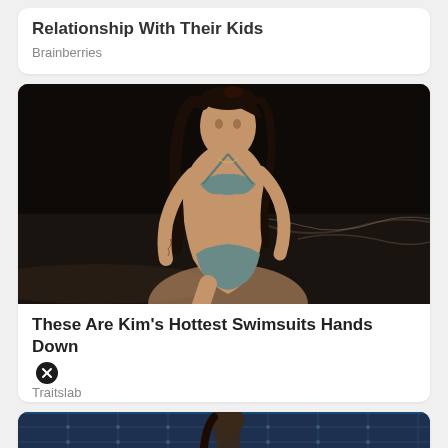Relationship With Their Kids
Brainberries
[Figure (photo): Woman in a grey bikini posing on a beach at night with waves in background]
These Are Kim's Hottest Swimsuits Hands Down
Traitslab
[Figure (photo): Person partially visible in a blue-tinted scene with geometric ceiling patterns]